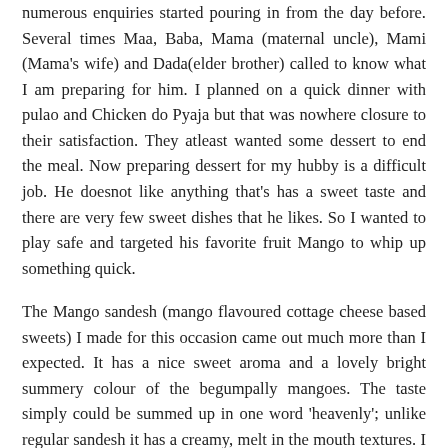numerous enquiries started pouring in from the day before. Several times Maa, Baba, Mama (maternal uncle), Mami (Mama's wife) and Dada(elder brother) called to know what I am preparing for him. I planned on a quick dinner with pulao and Chicken do Pyaja but that was nowhere closure to their satisfaction. They atleast wanted some dessert to end the meal. Now preparing dessert for my hubby is a difficult job. He doesnot like anything that's has a sweet taste and there are very few sweet dishes that he likes. So I wanted to play safe and targeted his favorite fruit Mango to whip up something quick.
The Mango sandesh (mango flavoured cottage cheese based sweets) I made for this occasion came out much more than I expected. It has a nice sweet aroma and a lovely bright summery colour of the begumpally mangoes. The taste simply could be summed up in one word 'heavenly'; unlike regular sandesh it has a creamy, melt in the mouth textures. I used my most prized possession, My Dida's